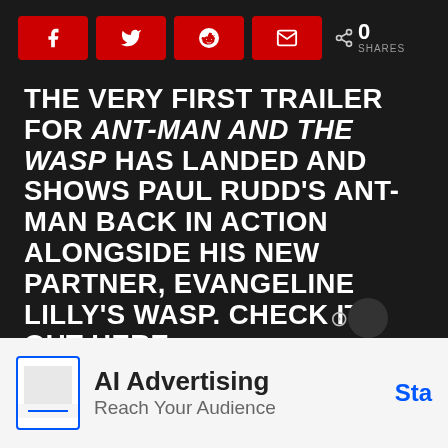[Figure (screenshot): Social share buttons bar with Facebook, Twitter, Reddit, Email icons in red, plus share count showing 0 SHARES]
THE VERY FIRST TRAILER FOR ANT-MAN AND THE WASP HAS LANDED AND SHOWS PAUL RUDD'S ANT-MAN BACK IN ACTION ALONGSIDE HIS NEW PARTNER, EVANGELINE LILLY'S WASP. CHECK IT OUT HERE.
Ant-Man and the Wasp is going to be Marvel's third film of 2018. That's a lot of comic books to come out in one year from one stu...
[Figure (screenshot): AI Advertising banner ad with text 'AI Advertising Reach Your Audience' and a 'Sta' button on the right, with an icon on the left]